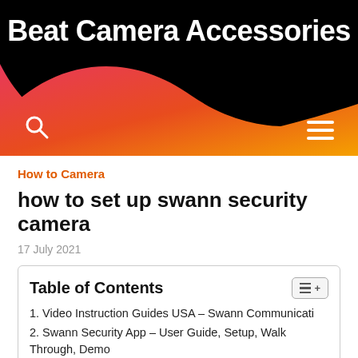Beat Camera Accessories
How to Camera
how to set up swann security camera
17 July 2021
| Table of Contents |
| --- |
| 1. Video Instruction Guides USA – Swann Communicati |
| 2. Swann Security App – User Guide, Setup, Walk Through, Demo |
| 3. Swann DVR Security System Setup Wizard – initial setup, firmware |
| 4. Swann DVR Security System Hardware Quick Start – how to |